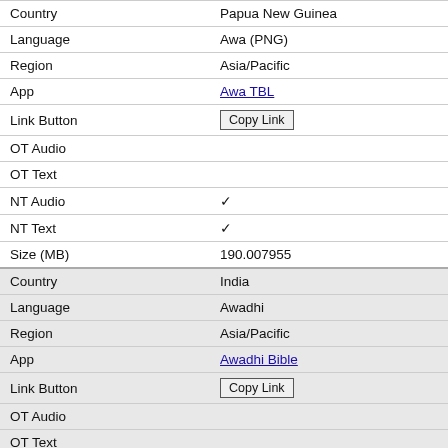| Field | Value |
| --- | --- |
| Country | Papua New Guinea |
| Language | Awa (PNG) |
| Region | Asia/Pacific |
| App | Awa TBL |
| Link Button | Copy Link |
| OT Audio |  |
| OT Text |  |
| NT Audio | ✓ |
| NT Text | ✓ |
| Size (MB) | 190.007955 |
| Country | India |
| Language | Awadhi |
| Region | Asia/Pacific |
| App | Awadhi Bible |
| Link Button | Copy Link |
| OT Audio |  |
| OT Text |  |
| NT Audio | ✓ |
| NT Text | ✓ |
| Size (MB) | 216.517469 |
| Country | Peru |
| Language | Awajun |